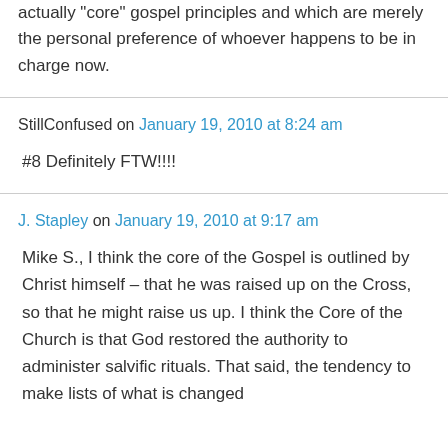actually "core" gospel principles and which are merely the personal preference of whoever happens to be in charge now.
StillConfused on January 19, 2010 at 8:24 am
#8 Definitely FTW!!!!
J. Stapley on January 19, 2010 at 9:17 am
Mike S., I think the core of the Gospel is outlined by Christ himself – that he was raised up on the Cross, so that he might raise us up. I think the Core of the Church is that God restored the authority to administer salvific rituals. That said, the tendency to make lists of what is changed